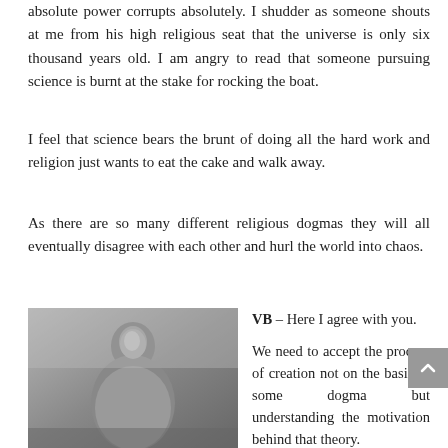absolute power corrupts absolutely. I shudder as someone shouts at me from his high religious seat that the universe is only six thousand years old. I am angry to read that someone pursuing science is burnt at the stake for rocking the boat.
I feel that science bears the brunt of doing all the hard work and religion just wants to eat the cake and walk away.
As there are so many different religious dogmas they will all eventually disagree with each other and hurl the world into chaos.
[Figure (photo): Black and white photograph of a bald man wearing white robes, seated outdoors, appears to be a religious or spiritual figure.]
VB – Here I agree with you.

We need to accept the process of creation not on the basis of some dogma but understanding the motivation behind that theory.